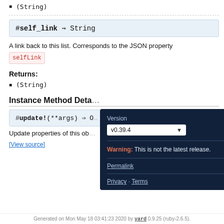(String)
#self_link ⇒ String
A link back to this list. Corresponds to the JSON property selfLink
Returns:
(String)
Instance Method Details
#update!(**args) ⇒ O
Update properties of this ob
[View source]
Generated on Mon May 18 03:41:23 2020 by yard 0.9.25 (ruby-2.6.5).